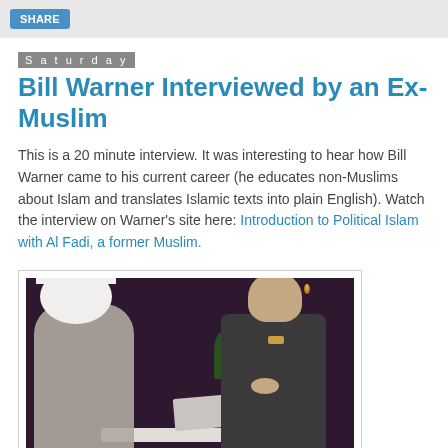Saturday
Bill Warner Interviewed by an Ex-Muslim
This is a 20 minute interview. It was interesting to hear how Bill Warner came to his current career (he educates non-Muslims about Islam and translates Islamic texts into plain English). Watch the interview on Warner's site here: Introduction to Political Islam with Al Fadi, a former Muslim.
[Figure (photo): Two men seated at a table in a studio setting. One person on the left wearing a white head covering, another on the right in a suit jacket. Chandelier lights visible in background. Watermark 'IRA' visible in bottom right.]